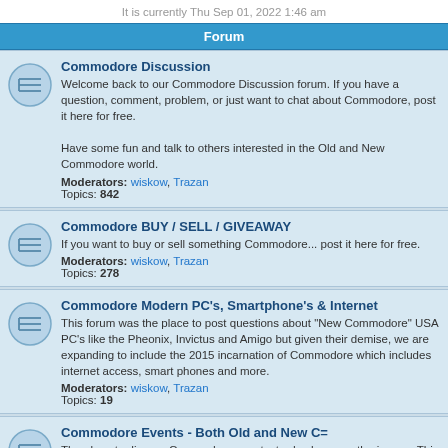It is currently Thu Sep 01, 2022 1:46 am
Forum
Commodore Discussion
Welcome back to our Commodore Discussion forum. If you have a question, comment, problem, or just want to chat about Commodore, post it here for free.
Have some fun and talk to others interested in the Old and New Commodore world.
Moderators: wiskow, Trazan
Topics: 842
Commodore BUY / SELL / GIVEAWAY
If you want to buy or sell something Commodore... post it here for free.
Moderators: wiskow, Trazan
Topics: 278
Commodore Modern PC's, Smartphone's & Internet
This forum was the place to post questions about "New Commodore" USA PC's like the Pheonix, Invictus and Amigo but given their demise, we are expanding to include the 2015 incarnation of Commodore which includes internet access, smart phones and more.
Moderators: wiskow, Trazan
Topics: 19
Commodore Events - Both Old and New C=
The place to discuss Commodore events, trade shows, gatherings... . This forum welcomes contect regarding Classic Commodore and the new 2006 Commodore.
Moderators: wiskow, Trazan
Topics: 216